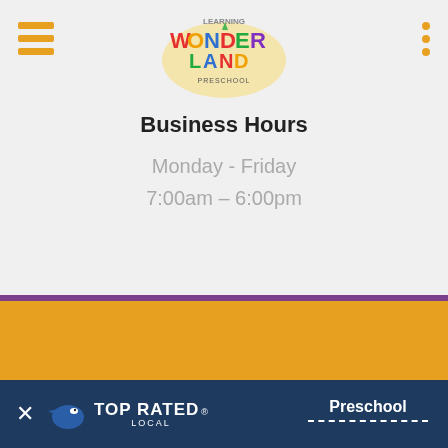Learning Wonderland Preschool
Business Hours
Monday - Friday
7:00am – 6:00pm
Quick Links
Home
Privacy Policy
Consultation
Contact
Services
About Us
TOP RATED LOCAL  Preschool